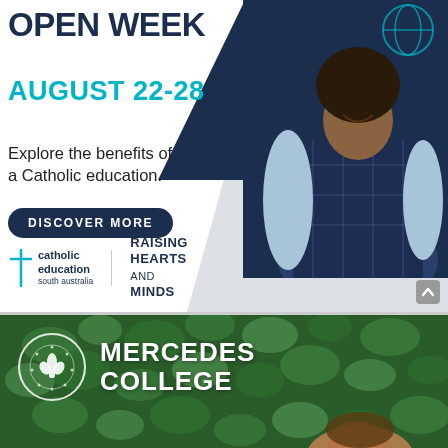[Figure (infographic): Catholic Education South Australia Open Week advertisement. Shows a smiling child in school uniform (navy plaid pinafore over light blue shirt) against white/navy background. Text overlay with 'OPEN WEEK', 'AUGUST 22-28', 'Explore the benefits of a Catholic education.', 'DISCOVER MORE' button, and logos for Catholic Education South Australia and 'RAISING HEARTS AND MINDS'.]
[Figure (photo): Mercedes College advertisement banner with green leafy background and partially visible child's face at bottom. Shows Mercedes College circular crest logo (white outline fleur-de-lis on seal) and 'MERCEDES COLLEGE' text in white.]